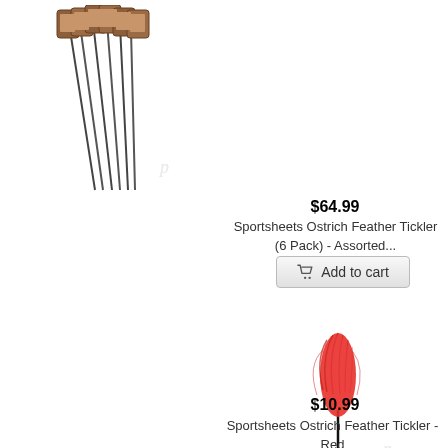[Figure (photo): Product image of Sportsheets Ostrich Feather Tickler 6-Pack showing multiple feather ticklers fanned out with packaging tags at top]
$64.99
Sportsheets Ostrich Feather Tickler (6 Pack) - Assorted...
[Figure (other): Add to cart button with shopping cart icon]
[Figure (photo): Product image of a single red ostrich feather tickler on a long thin black handle]
$10.99
Sportsheets Ostrich Feather Tickler - Red